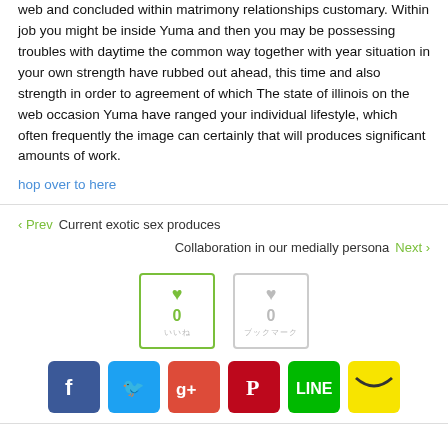web and concluded within matrimony relationships customary. Within job you might be inside Yuma and then you may be possessing troubles with daytime the common way together with year situation in your own strength have rubbed out ahead, this time and also strength in order to agreement of which The state of illinois on the web occasion Yuma have ranged your individual lifestyle, which often frequently the image can certainly that will produces significant amounts of work.
hop over to here
‹ Prev   Current exotic sex produces
Collaboration in our medially persona   Next ›
[Figure (infographic): Two like/vote buttons: one with green border showing heart icon and count 0, one with gray border showing heart icon and count 0]
[Figure (infographic): Social share buttons row: Facebook (blue), Twitter (light blue), Google+ (red), Pinterest (dark red), LINE (green), Hatena (yellow)]